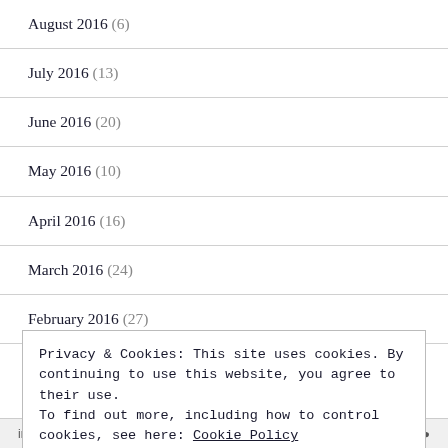August 2016 (6)
July 2016 (13)
June 2016 (20)
May 2016 (10)
April 2016 (16)
March 2016 (24)
February 2016 (27)
Privacy & Cookies: This site uses cookies. By continuing to use this website, you agree to their use.
To find out more, including how to control cookies, see here: Cookie Policy
Close and accept
in less than a week